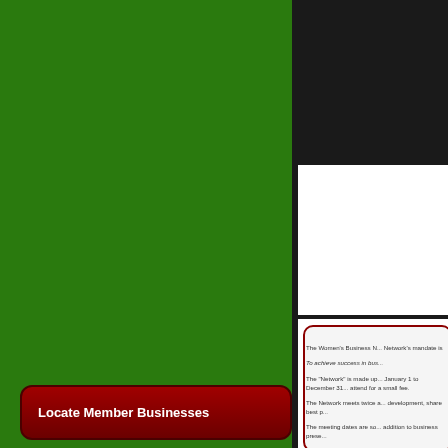[Figure (other): Large green background panel on the left side of the page]
[Figure (other): Black bar at top right, white box below it, then dark divider bar, then rounded bordered box below on the right column]
The Women's Business N... Network's mandate is
To achieve success in bus...
The "Network" is made up... January 1 to December 31... attend for a small fee.
The Network meets twice a... development, share best p...
The meeting dates are so... addition to business prese...
The next big event takes p...
Locate Member Businesses